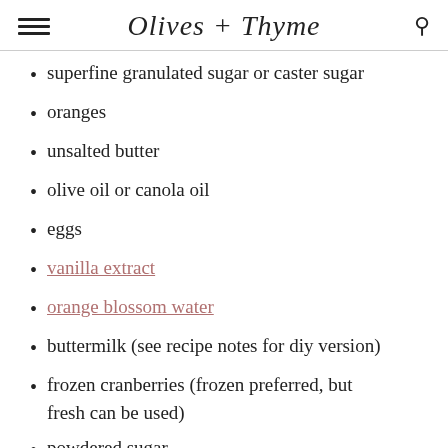Olives + Thyme
superfine granulated sugar or caster sugar
oranges
unsalted butter
olive oil or canola oil
eggs
vanilla extract
orange blossom water
buttermilk (see recipe notes for diy version)
frozen cranberries (frozen preferred, but fresh can be used)
powdered sugar
honey